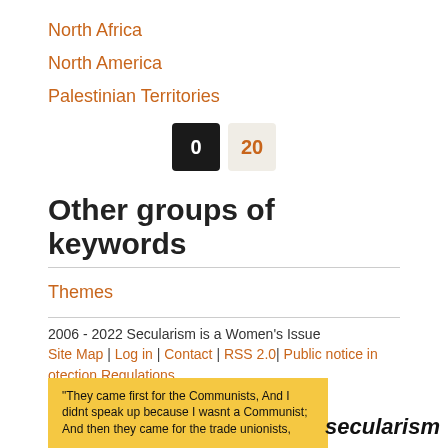North Africa
North America
Palestinian Territories
0  20
Other groups of keywords
Themes
2006 - 2022 Secularism is a Women's Issue
Site Map | Log in | Contact | RSS 2.0| Public notice in otection Regulations
"They came first for the Communists, And I didnt speak up because I wasnt a Communist; And then they came for the trade unionists,
secularism